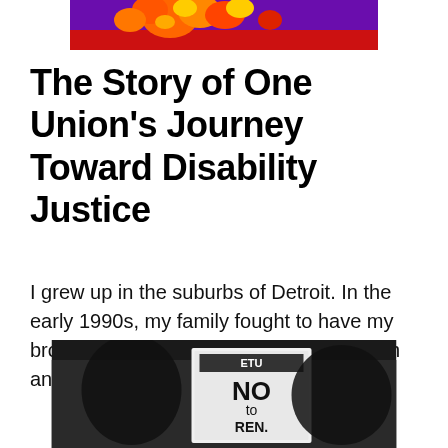[Figure (photo): Colorful illustration/artwork with orange, yellow, purple and red colors, partially visible at top of page]
The Story of One Union's Journey Toward Disability Justice
I grew up in the suburbs of Detroit. In the early 1990s, my family fought to have my brother Micah, who had been labeled with an intellectual disability with needs [...]
[Figure (photo): Black and white protest photo showing a sign that reads 'NO to REN.' with partial text cut off at bottom]